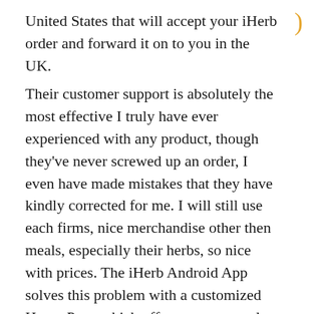United States that will accept your iHerb order and forward it on to you in the UK.
Their customer support is absolutely the most effective I truly have ever experienced with any product, though they've never screwed up an order, I even have made mistakes that they have kindly corrected for me. I will still use each firms, nice merchandise other then meals, especially their herbs, so nice with prices. The iHerb Android App solves this problem with a customized Home Page which offers a sooner and higher purchasing experience. This is especially essential since iHerb provides greater than 35,000 products and 1,000 brands. At present, they provide over 5 thousand products for sale, which are shipped from PA, United States.